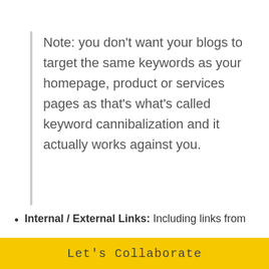Note: you don't want your blogs to target the same keywords as your homepage, product or services pages as that's what's called keyword cannibalization and it actually works against you.
Internal / External Links: Including links from
Let's Collaborate